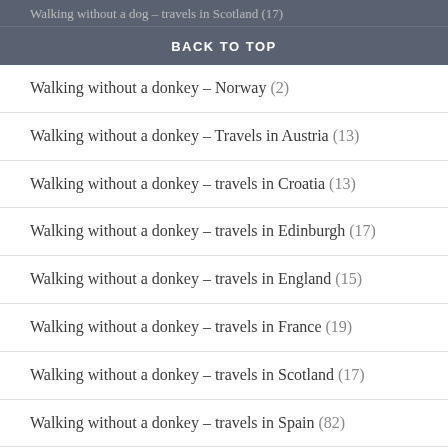Walking without a dog – travels in Scotland (17)
BACK TO TOP
Walking without a donkey – Norway (2)
Walking without a donkey – Travels in Austria (13)
Walking without a donkey – travels in Croatia (13)
Walking without a donkey – travels in Edinburgh (17)
Walking without a donkey – travels in England (15)
Walking without a donkey – travels in France (19)
Walking without a donkey – travels in Scotland (17)
Walking without a donkey – travels in Spain (82)
Walking without a donkey – Travels in Switzerland (2)